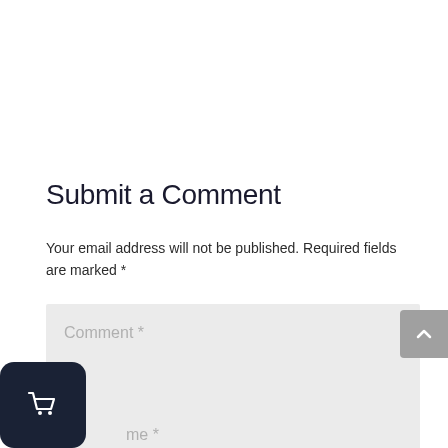Submit a Comment
Your email address will not be published. Required fields are marked *
[Figure (screenshot): Comment text area input field with placeholder text 'Comment *' and a resize handle in the bottom right corner, light gray background]
[Figure (screenshot): Name input field with placeholder text 'me *', light gray background]
[Figure (other): Gray back-to-top button with upward chevron icon, positioned on right edge]
[Figure (other): Dark navy shopping cart icon button in bottom left corner]